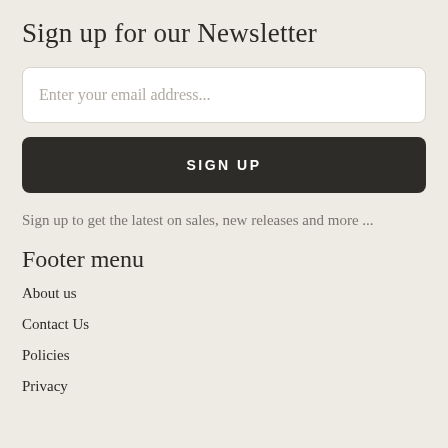Sign up for our Newsletter
[Figure (other): Email input field with placeholder text 'Enter your email address...']
[Figure (other): Dark button with text 'SIGN UP']
Sign up to get the latest on sales, new releases and more ...
Footer menu
About us
Contact Us
Policies
Privacy